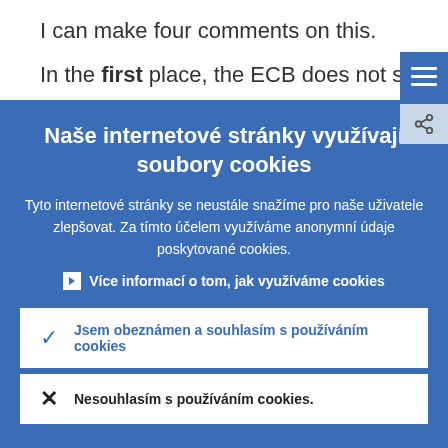I can make four comments on this.
In the first place, the ECB does not set
[Figure (screenshot): Cookie consent overlay on ECB website in Czech language with title 'Naše internetové stránky využívají soubory cookies', body text, a link 'Více informací o tom, jak využíváme cookies', and two buttons: 'Jsem obeznámen a souhlasím s používáním cookies' (accept) and 'Nesouhlasím s používáním cookies.' (reject).]